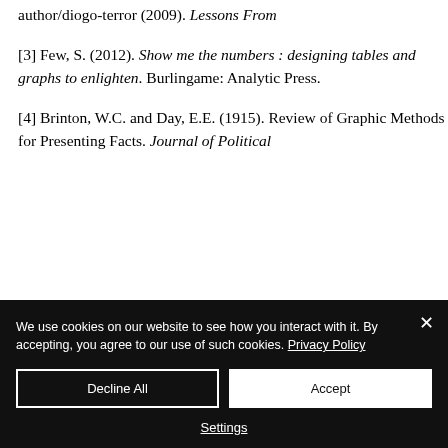https://www.lismag Magazine.com/author/diogo-terror (2009). Lessons From
[3] Few, S. (2012). Show me the numbers : designing tables and graphs to enlighten. Burlingame: Analytic Press.
[4] Brinton, W.C. and Day, E.E. (1915). Review of Graphic Methods for Presenting Facts. Journal of Political
We use cookies on our website to see how you interact with it. By accepting, you agree to our use of such cookies. Privacy Policy
Decline All
Accept
Settings